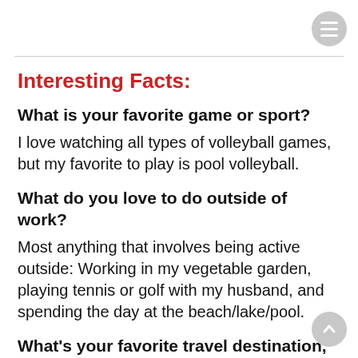Interesting Facts:
What is your favorite game or sport?
I love watching all types of volleyball games, but my favorite to play is pool volleyball.
What do you love to do outside of work?
Most anything that involves being active outside: Working in my vegetable garden, playing tennis or golf with my husband, and spending the day at the beach/lake/pool.
What's your favorite travel destination,